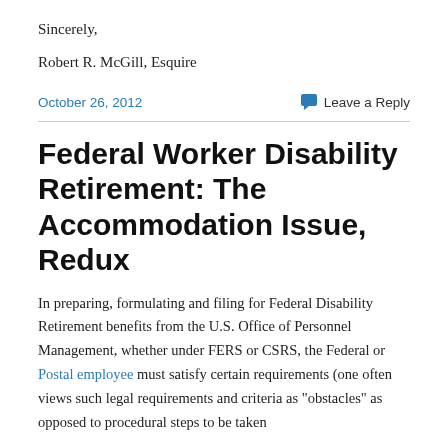Sincerely,
Robert R. McGill, Esquire
October 26, 2012
Leave a Reply
Federal Worker Disability Retirement: The Accommodation Issue, Redux
In preparing, formulating and filing for Federal Disability Retirement benefits from the U.S. Office of Personnel Management, whether under FERS or CSRS, the Federal or Postal employee must satisfy certain requirements (one often views such legal requirements and criteria as “obstacles” as opposed to procedural steps to be taken